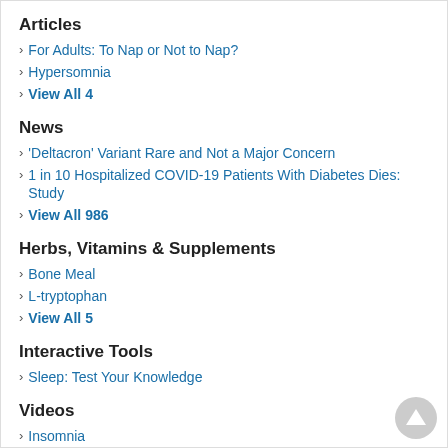Articles
For Adults: To Nap or Not to Nap?
Hypersomnia
View All 4
News
'Deltacron' Variant Rare and Not a Major Concern
1 in 10 Hospitalized COVID-19 Patients With Diabetes Dies: Study
View All 986
Herbs, Vitamins & Supplements
Bone Meal
L-tryptophan
View All 5
Interactive Tools
Sleep: Test Your Knowledge
Videos
Insomnia
Step-by-Step: Safe Lifting